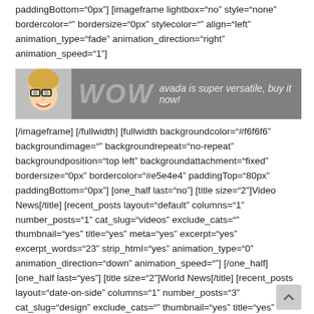paddingBottom="0px"] [imageframe lightbox="no" style="none" bordercolor="" bordersize="0px" stylecolor="" align="left" animation_type="fade" animation_direction="right" animation_speed="1"]
[Figure (illustration): A grey banner with a smiling person's face on the left, large italic 'WOW' text in light grey, and tagline 'avada is super versatile, buy it now!' in white italic text on a grey background.]
[/imageframe] [/fullwidth] [fullwidth backgroundcolor="#f6f6f6" backgroundimage="" backgroundrepeat="no-repeat" backgroundposition="top left" backgroundattachment="fixed" bordersize="0px" bordercolor="#e5e4e4" paddingTop="80px" paddingBottom="0px"] [one_half last="no"] [title size="2"]Video News[/title] [recent_posts layout="default" columns="1" number_posts="1" cat_slug="videos" exclude_cats="" thumbnail="yes" title="yes" meta="yes" excerpt="yes" excerpt_words="23" strip_html="yes" animation_type="0" animation_direction="down" animation_speed=""] [/one_half] [one_half last="yes"] [title size="2"]World News[/title] [recent_posts layout="date-on-side" columns="1" number_posts="3" cat_slug="design" exclude_cats="" thumbnail="yes" title="yes" meta="yes" excerpt="yes" excerpt_words="23" strip_html="yes" animation_type="0"